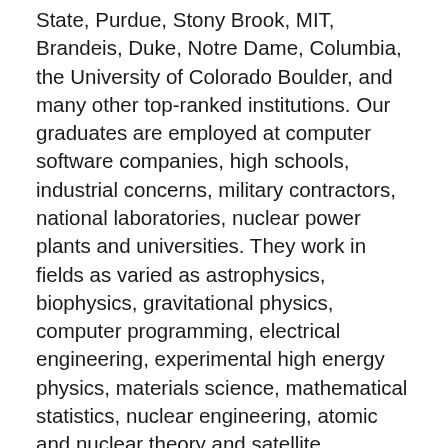State, Purdue, Stony Brook, MIT, Brandeis, Duke, Notre Dame, Columbia, the University of Colorado Boulder, and many other top-ranked institutions. Our graduates are employed at computer software companies, high schools, industrial concerns, military contractors, national laboratories, nuclear power plants and universities. They work in fields as varied as astrophysics, biophysics, gravitational physics, computer programming, electrical engineering, experimental high energy physics, materials science, mathematical statistics, nuclear engineering, atomic and nuclear theory and satellite communications.
Research activities in the Physics Department span a very diverse range within the field, but may be grouped into three main focus areas: computational physics, theoretical physics, and experimental physics. Student participation is highly valued in all of these areas, and